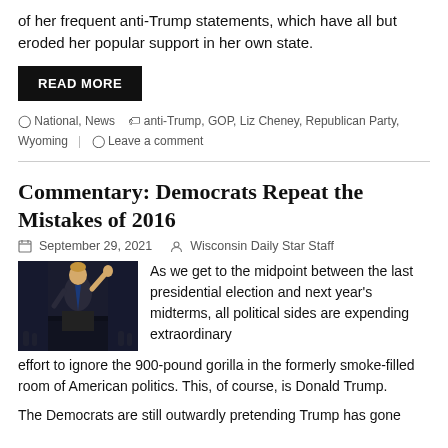of her frequent anti-Trump statements, which have all but eroded her popular support in her own state.
READ MORE
National, News  anti-Trump, GOP, Liz Cheney, Republican Party, Wyoming  Leave a comment
Commentary: Democrats Repeat the Mistakes of 2016
September 29, 2021   Wisconsin Daily Star Staff
[Figure (photo): Photo of Donald Trump at a podium with hand raised]
As we get to the midpoint between the last presidential election and next year's midterms, all political sides are expending extraordinary effort to ignore the 900-pound gorilla in the formerly smoke-filled room of American politics. This, of course, is Donald Trump.
The Democrats are still outwardly pretending Trump has gone